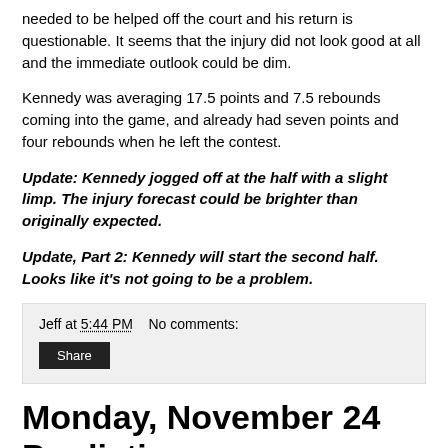needed to be helped off the court and his return is questionable. It seems that the injury did not look good at all and the immediate outlook could be dim.
Kennedy was averaging 17.5 points and 7.5 rebounds coming into the game, and already had seven points and four rebounds when he left the contest.
Update: Kennedy jogged off at the half with a slight limp. The injury forecast could be brighter than originally expected.
Update, Part 2: Kennedy will start the second half. Looks like it's not going to be a problem.
Jeff at 5:44 PM    No comments:
Share
Monday, November 24 Predictions